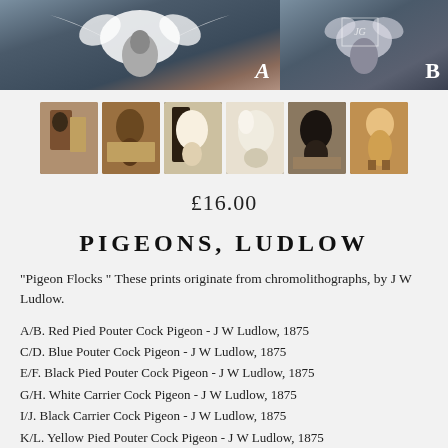[Figure (photo): Two large pigeon artwork images side by side. Left image labeled A shows a white-winged pigeon in dramatic style. Right image labeled B shows a darker pigeon artwork with a small watermark logo.]
[Figure (photo): A row of six thumbnail images showing various pigeon prints in warm brown and sepia tones.]
£16.00
PIGEONS, LUDLOW
"Pigeon Flocks " These prints originate from chromolithographs, by J W Ludlow.
A/B. Red Pied Pouter Cock Pigeon - J W Ludlow, 1875
C/D. Blue Pouter Cock Pigeon - J W Ludlow, 1875
E/F. Black Pied Pouter Cock Pigeon - J W Ludlow, 1875
G/H. White Carrier Cock Pigeon - J W Ludlow, 1875
I/J. Black Carrier Cock Pigeon - J W Ludlow, 1875
K/L. Yellow Pied Pouter Cock Pigeon - J W Ludlow, 1875